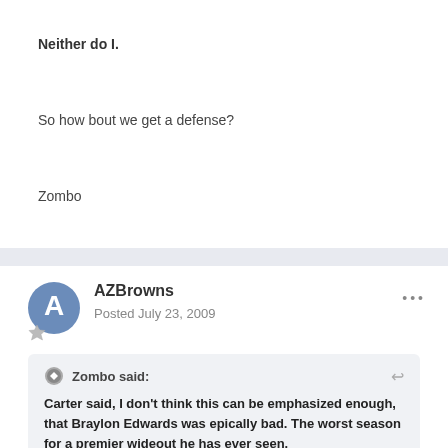Neither do I.
So how bout we get a defense?
Zombo
AZBrowns
Posted July 23, 2009
Zombo said:
Carter said, I don't think this can be emphasized enough, that Braylon Edwards was epically bad. The worst season for a premier wideout he has ever seen.